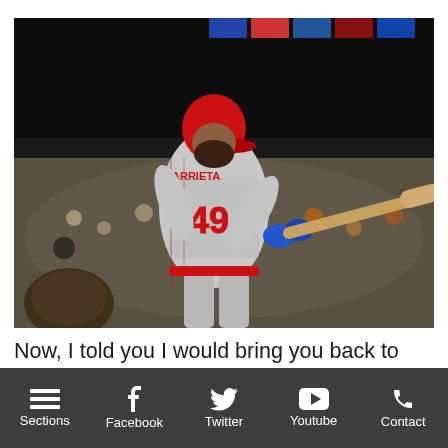[Figure (photo): Baseball player wearing jersey number 49 with name ARRIETA, in gray Philadelphia Phillies uniform and red helmet, mid-swing with wooden bat, crowd visible in blurred background at stadium. Catcher's mitt visible at bottom left.]
Now, I told you I would bring you back to this “unexpected explanation” point from earlier. It’s reported all the sudden that
Sections  Facebook  Twitter  Youtube  Contact